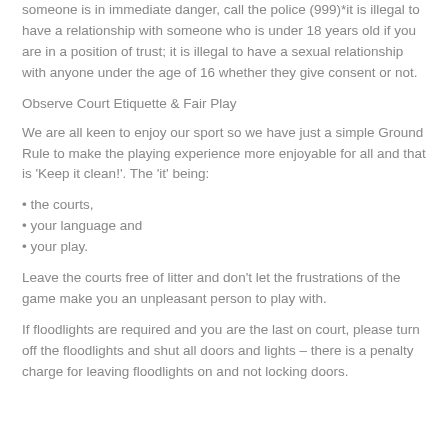someone is in immediate danger, call the police (999)*it is illegal to have a relationship with someone who is under 18 years old if you are in a position of trust; it is illegal to have a sexual relationship with anyone under the age of 16 whether they give consent or not.
Observe Court Etiquette & Fair Play
We are all keen to enjoy our sport so we have just a simple Ground Rule to make the playing experience more enjoyable for all and that is 'Keep it clean!'. The 'it' being:
• the courts,
• your language and
• your play.
Leave the courts free of litter and don't let the frustrations of the game make you an unpleasant person to play with.
If floodlights are required and you are the last on court, please turn off the floodlights and shut all doors and lights – there is a penalty charge for leaving floodlights on and not locking doors.